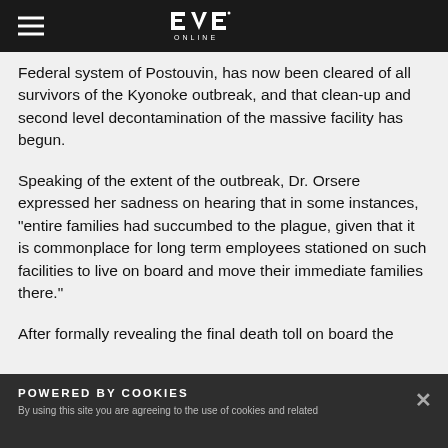EVE Online
Federal system of Postouvin, has now been cleared of all survivors of the Kyonoke outbreak, and that clean-up and second level decontamination of the massive facility has begun.
Speaking of the extent of the outbreak, Dr. Orsere expressed her sadness on hearing that in some instances, "entire families had succumbed to the plague, given that it is commonplace for long term employees stationed on such facilities to live on board and move their immediate families there."
After formally revealing the final death toll on board the
POWERED BY COOKIES
By using this site you are agreeing to the use of cookies and related